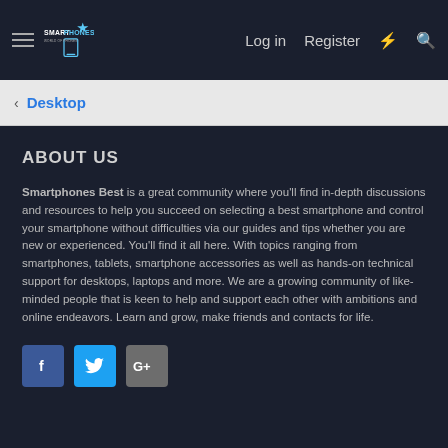≡  SMARTPHONES  Log in  Register  ⚡  🔍
< Desktop
ABOUT US
Smartphones Best is a great community where you'll find in-depth discussions and resources to help you succeed on selecting a best smartphone and control your smartphone without difficulties via our guides and tips whether you are new or experienced. You'll find it all here. With topics ranging from smartphones, tablets, smartphone accessories as well as hands-on technical support for desktops, laptops and more. We are a growing community of like-minded people that is keen to help and support each other with ambitions and online endeavors. Learn and grow, make friends and contacts for life.
[Figure (infographic): Social media share buttons: Facebook (f), Twitter (bird icon), Google+ (G+)]